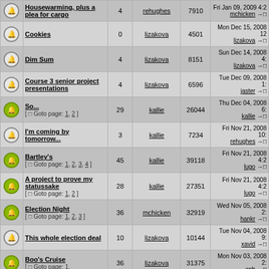|  | Topic | Replies | Author | Views | Last Post |
| --- | --- | --- | --- | --- | --- |
|  | Housewarming, plus a plea for cargo | 4 | rehughes | 7910 | Fri Jan 09, 2009 4:2 mchicken → |
|  | Cookies | 0 | lizakova | 4501 | Mon Dec 15, 2008 12 lizakova → |
|  | Dim Sum | 4 | lizakova | 8151 | Sun Dec 14, 2008 4: lizakova → |
|  | Course 3 senior project presentations | 4 | lizakova | 6596 | Tue Dec 09, 2008 1: jaster → |
|  | So... [ Goto page: 1, 2 ] | 29 | kallie | 26044 | Thu Dec 04, 2008 6: kallie → |
|  | I'm coming by tomorrow... | 3 | kallie | 7234 | Fri Nov 21, 2008 10: rehughes → |
|  | Bartley's [ Goto page: 1, 2, 3, 4 ] | 45 | kallie | 39118 | Fri Nov 21, 2008 4:2 lugo → |
|  | A project to prove my statussake [ Goto page: 1, 2 ] | 28 | kallie | 27351 | Fri Nov 21, 2008 4:2 lugo → |
|  | Election Night [ Goto page: 1, 2, 3 ] | 36 | mchicken | 32919 | Wed Nov 05, 2008 2: hankr → |
|  | This whole election deal | 10 | lizakova | 10144 | Tue Nov 04, 2008 9: xavid → |
|  | Boo's Cruise [ Goto page: 1, | 36 | lizakova | 31375 | Mon Nov 03, 2008 2: eph → |